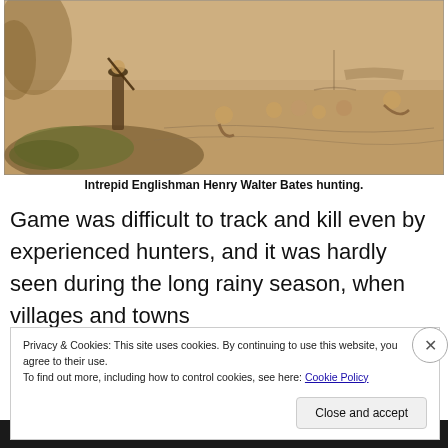[Figure (illustration): Historical engraving/sketch showing a man (Henry Walter Bates) standing with a rifle on a riverbank, while several people are bathing or swimming in the water in the background. Sepia-toned illustration.]
Intrepid Englishman Henry Walter Bates hunting.
Game was difficult to track and kill even by experienced hunters, and it was hardly seen during the long rainy season, when villages and towns
Privacy & Cookies: This site uses cookies. By continuing to use this website, you agree to their use.
To find out more, including how to control cookies, see here: Cookie Policy
Close and accept